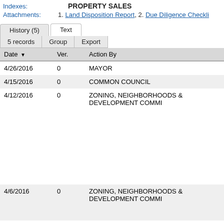Indexes: PROPERTY SALES
Attachments: 1. Land Disposition Report, 2. Due Diligence Checklist
| Date | Ver. | Action By |
| --- | --- | --- |
| 4/26/2016 | 0 | MAYOR |
| 4/15/2016 | 0 | COMMON COUNCIL |
| 4/12/2016 | 0 | ZONING, NEIGHBORHOODS & DEVELOPMENT COMMI |
| 4/6/2016 | 0 | ZONING, NEIGHBORHOODS & DEVELOPMENT COMMI |
| 3/29/2016 | 0 | COMMON COUNCIL |